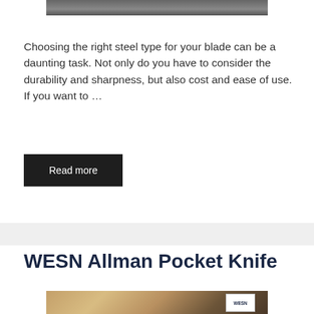[Figure (photo): Partial top image of a blade/knife, cropped at top]
Choosing the right steel type for your blade can be a daunting task. Not only do you have to consider the durability and sharpness, but also cost and ease of use. If you want to …
Read more
WESN Allman Pocket Knife
[Figure (photo): Photo of WESN Allman Pocket Knife product with packaging on wooden surface]